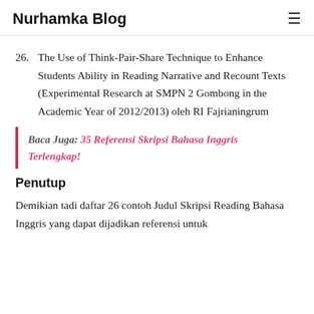Nurhamka Blog
26. The Use of Think-Pair-Share Technique to Enhance Students Ability in Reading Narrative and Recount Texts (Experimental Research at SMPN 2 Gombong in the Academic Year of 2012/2013) oleh RI Fajrianingrum
Baca Juga: 35 Referensi Skripsi Bahasa Inggris Terlengkap!
Penutup
Demikian tadi daftar 26 contoh Judul Skripsi Reading Bahasa Inggris yang dapat dijadikan referensi untuk